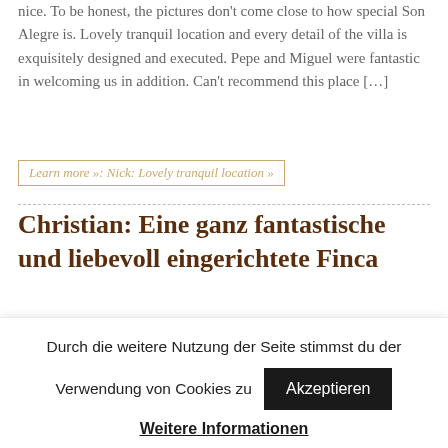nice. To be honest, the pictures don't come close to how special Son Alegre is. Lovely tranquil location and every detail of the villa is exquisitely designed and executed. Pepe and Miguel were fantastic in welcoming us in addition. Can't recommend this place […]
Learn more »: Nick: Lovely tranquil location »
Christian: Eine ganz fantastische und liebevoll eingerichtete Finca
Eine ganz fantastische und liebevoll eingerichtete Finca. Sie ist noch weitaus schöner, als es die idyllischen Fotos darstellen können. Das Haus liegt etwas außerhalb üblicher Touristenpfade, dadurch ist es aber ruhig und wunderbar entspannend. Abends sind nur ein
Durch die weitere Nutzung der Seite stimmst du der Verwendung von Cookies zu
Akzeptieren
Weitere Informationen